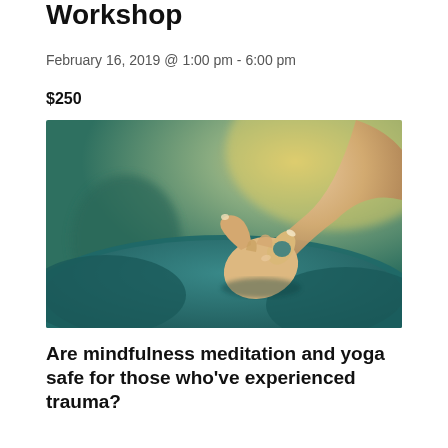Workshop
February 16, 2019 @ 1:00 pm - 6:00 pm
$250
[Figure (photo): Close-up photograph of a person's hand in a yoga mudra gesture (thumb and index finger touching to form a circle) resting on a teal meditation cushion, with a soft blurred background of warm golden light and another seated figure.]
Are mindfulness meditation and yoga safe for those who've experienced trauma?